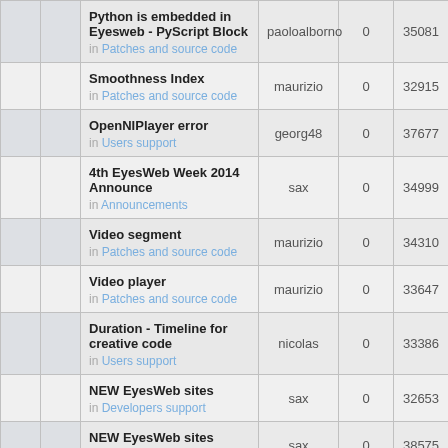|  |  | Topic | Author | Replies | Views | Last Post |
| --- | --- | --- | --- | --- | --- | --- |
|  |  | Python is embedded in Eyesweb - PyScript Block
in Patches and source code | paoloalborno | 0 | 35081 | 11 F pa... |
|  |  | Smoothness Index
in Patches and source code | maurizio | 0 | 32915 | 15 J... |
|  |  | OpenNIPlayer error
in Users support | georg48 | 0 | 37677 | 24 M... |
|  |  | 4th EyesWeb Week 2014 Announce
in Announcements | sax | 0 | 34999 | 16 J... |
|  |  | Video segment
in Patches and source code | maurizio | 0 | 34310 | 30 D... |
|  |  | Video player
in Patches and source code | maurizio | 0 | 33647 | 29 D... |
|  |  | Duration - Timeline for creative code
in Users support | nicolas | 0 | 33386 | 28 F... |
|  |  | NEW EyesWeb sites
in Developers support | sax | 0 | 32653 | 04 F... |
|  |  | NEW EyesWeb sites
in Users support | sax | 0 | 38575 | 04 F... |